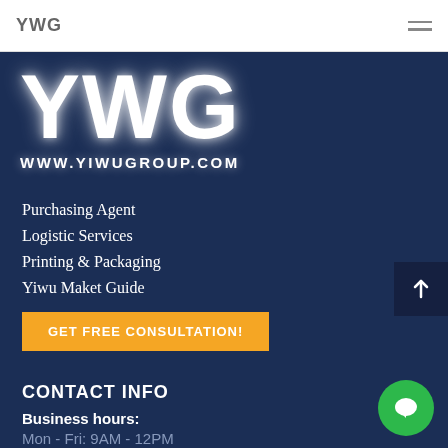YWG
YWG
WWW.YIWUGROUP.COM
Purchasing Agent
Logistic Services
Printing & Packaging
Yiwu Maket Guide
GET FREE CONSULTATION!
CONTACT INFO
Business hours:
Mon - Fri: 9AM - 12PM